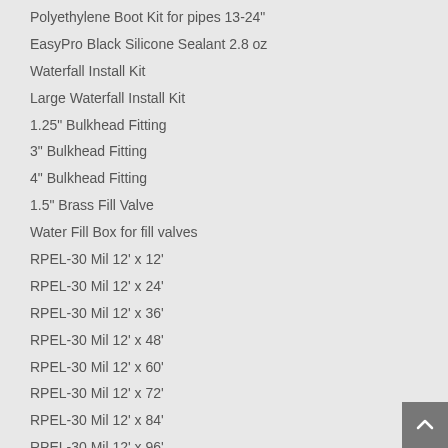Polyethylene Boot Kit for pipes 13-24"
EasyPro Black Silicone Sealant 2.8 oz
Waterfall Install Kit
Large Waterfall Install Kit
1.25" Bulkhead Fitting
3" Bulkhead Fitting
4" Bulkhead Fitting
1.5" Brass Fill Valve
Water Fill Box for fill valves
RPEL-30 Mil 12' x 12'
RPEL-30 Mil 12' x 24'
RPEL-30 Mil 12' x 36'
RPEL-30 Mil 12' x 48'
RPEL-30 Mil 12' x 60'
RPEL-30 Mil 12' x 72'
RPEL-30 Mil 12' x 84'
RPEL-30 Mil 12' x 96'
RPEL-30 Mil 12' x 108'
RPEL-30 Mil 12' x 120'
RPEL 30 Mil 24' x 24'